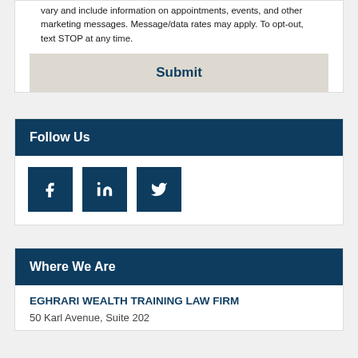vary and include information on appointments, events, and other marketing messages. Message/data rates may apply. To opt-out, text STOP at any time.
Submit
Follow Us
[Figure (infographic): Three social media icon buttons: Facebook (f), LinkedIn (in), Twitter (bird icon), each in a dark navy square]
Where We Are
EGHRARI WEALTH TRAINING LAW FIRM
50 Karl Avenue, Suite 202